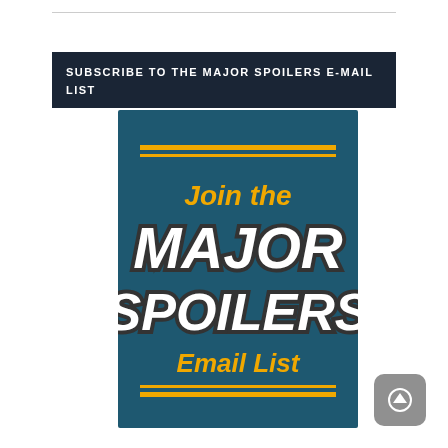SUBSCRIBE TO THE MAJOR SPOILERS E-MAIL LIST
[Figure (illustration): Promotional banner with teal/dark blue background, two horizontal gold lines top and bottom, italic bold white text reading 'MAJOR SPOILERS' and gold text 'Join the' above and 'Email List' below]
[Figure (other): Gray rounded square button with white upward arrow icon]